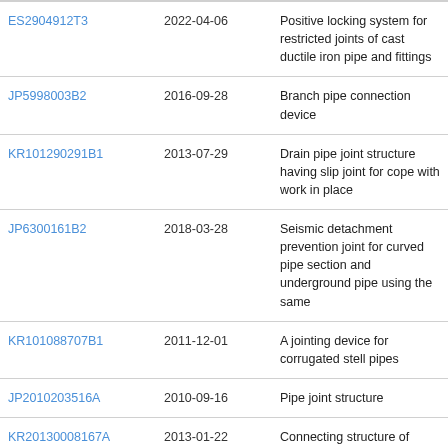| ES2904912T3 | 2022-04-06 | Positive locking system for restricted joints of cast ductile iron pipe and fittings |
| JP5998003B2 | 2016-09-28 | Branch pipe connection device |
| KR101290291B1 | 2013-07-29 | Drain pipe joint structure having slip joint for cope with work in place |
| JP6300161B2 | 2018-03-28 | Seismic detachment prevention joint for curved pipe section and underground pipe using the same |
| KR101088707B1 | 2011-12-01 | A jointing device for corrugated stell pipes |
| JP2010203516A | 2010-09-16 | Pipe joint structure |
| KR20130008167A | 2013-01-22 | Connecting structure of corrugate pipes |